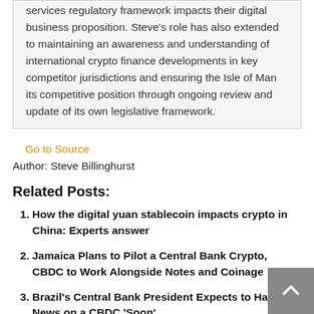services regulatory framework impacts their digital business proposition. Steve's role has also extended to maintaining an awareness and understanding of international crypto finance developments in key competitor jurisdictions and ensuring the Isle of Man its competitive position through ongoing review and update of its own legislative framework.
Go to Source
Author: Steve Billinghurst
Related Posts:
How the digital yuan stablecoin impacts crypto in China: Experts answer
Jamaica Plans to Pilot a Central Bank Crypto, CBDC to Work Alongside Notes and Coinage
Brazil's Central Bank President Expects to Have News on a CBDC 'Soon'
Bank of Korea Governor Says CBDCs Could Kill Demand for